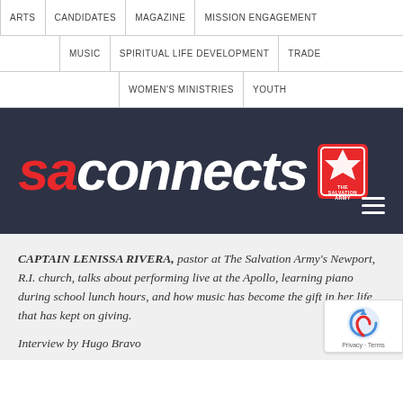ARTS | CANDIDATES | MAGAZINE | MISSION ENGAGEMENT
MUSIC | SPIRITUAL LIFE DEVELOPMENT | TRADE
WOMEN'S MINISTRIES | YOUTH
[Figure (logo): SA Connects logo with The Salvation Army shield on dark navy background]
CAPTAIN LENISSA RIVERA, pastor at The Salvation Army's Newport, R.I. church, talks about performing live at the Apollo, learning piano during school lunch hours, and how music has become the gift in her life that has kept on giving.
Interview by Hugo Bravo